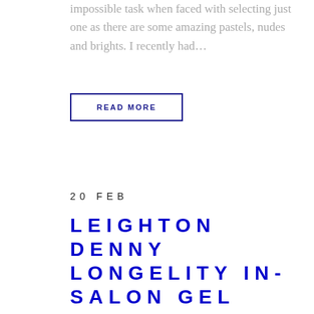impossible task when faced with selecting just one as there are some amazing pastels, nudes and brights. I recently had...
READ MORE
20 FEB
LEIGHTON DENNY LONGELITY IN-SALON GEL TREATMENT